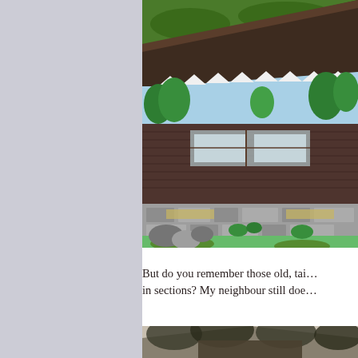[Figure (illustration): Mid-century modern house illustration with green lawn, trees, wooden exterior, stone base, and decorative white awning. Aerial/perspective view.]
But do you remember those old, tai… in sections? My neighbour still doe…
[Figure (photo): Partial view of a house with trees, black and white or muted photograph, bottom of page.]